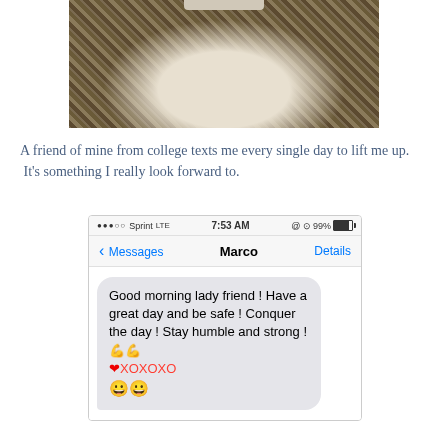[Figure (photo): A close-up photo of a rocky/sandy surface with a white powdery substance visible, and a small white object at the top edge.]
A friend of mine from college texts me every single day to lift me up. It's something I really look forward to.
[Figure (screenshot): iOS iPhone text message screenshot showing a conversation with 'Marco'. Status bar shows Sprint LTE, 7:53 AM, 99% battery. Message reads: Good morning lady friend ! Have a great day and be safe ! Conquer the day ! Stay humble and strong ! 💪💪❤️XOXOXO 😀😀]